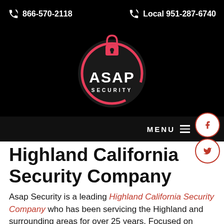866-570-2118   Local 951-287-6740
[Figure (logo): ASAP Security circular logo with padlock icon, white text on dark background with pink/red circular border]
MENU
Highland California Security Company
Asap Security is a leading Highland California Security Company who has been servicing the Highland and surrounding areas for over 25 years. Focused on Client services in Highland California we